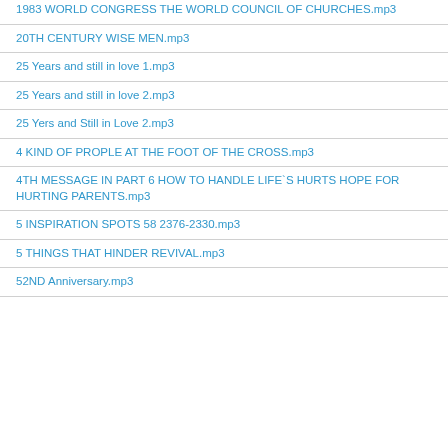1983 WORLD CONGRESS THE WORLD COUNCIL OF CHURCHES.mp3
20TH CENTURY WISE MEN.mp3
25 Years and still in love 1.mp3
25 Years and still in love 2.mp3
25 Yers and Still in Love 2.mp3
4 KIND OF PROPLE AT THE FOOT OF THE CROSS.mp3
4TH MESSAGE IN PART 6 HOW TO HANDLE LIFE`S HURTS HOPE FOR HURTING PARENTS.mp3
5 INSPIRATION SPOTS 58 2376-2330.mp3
5 THINGS THAT HINDER REVIVAL.mp3
52ND Anniversary.mp3